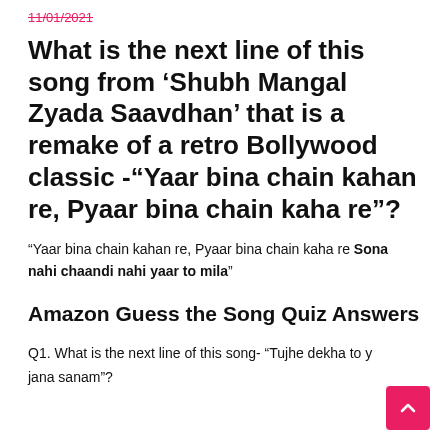11/01/2021
What is the next line of this song from ‘Shubh Mangal Zyada Saavdhan’ that is a remake of a retro Bollywood classic -“Yaar bina chain kahan re, Pyaar bina chain kaha re”?
“Yaar bina chain kahan re, Pyaar bina chain kaha re Sona nahi chaandi nahi yaar to mila”
Amazon Guess the Song Quiz Answers
Q1. What is the next line of this song- “Tujhe dekha to y jana sanam”?